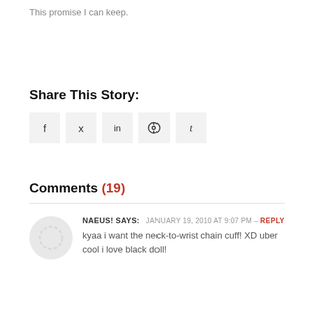This promise I can keep.
Share This Story:
[Figure (other): Social media share buttons: Facebook (f), Twitter (bird/x), LinkedIn (in), Pinterest (pin icon), Tumblr (t)]
Comments (19)
NAEUS! SAYS: JANUARY 19, 2010 AT 9:07 PM – REPLY
kyaa i want the neck-to-wrist chain cuff! XD uber cool i love black doll!